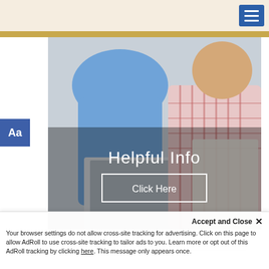[Figure (screenshot): Top navigation bar with beige/cream background and a blue hamburger menu button in the top right corner]
[Figure (photo): Elderly man in plaid shirt looking at documents with a laptop, assisted by a person in blue. Overlay text reads 'Helpful Info' with a 'Click Here' button outlined in white.]
Helpful Info
Click Here
Aa
SUBSCRIBE TO OUR OBITUARIES
Accept and Close ✕
Your browser settings do not allow cross-site tracking for advertising. Click on this page to allow AdRoll to use cross-site tracking to tailor ads to you. Learn more or opt out of this AdRoll tracking by clicking here. This message only appears once.